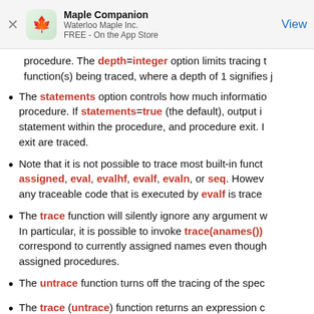Maple Companion
Waterloo Maple Inc.
FREE - On the App Store
procedure. The depth=integer option limits tracing to function(s) being traced, where a depth of 1 signifies j
The statements option controls how much information procedure. If statements=true (the default), output i statement within the procedure, and procedure exit. I exit are traced.
Note that it is not possible to trace most built-in funct assigned, eval, evalhf, evalf, evaln, or seq. Howev any traceable code that is executed by evalf is trace
The trace function will silently ignore any argument w In particular, it is possible to invoke trace(anames()) correspond to currently assigned names even though assigned procedures.
The untrace function turns off the tracing of the spec
The trace (untrace) function returns an expression c